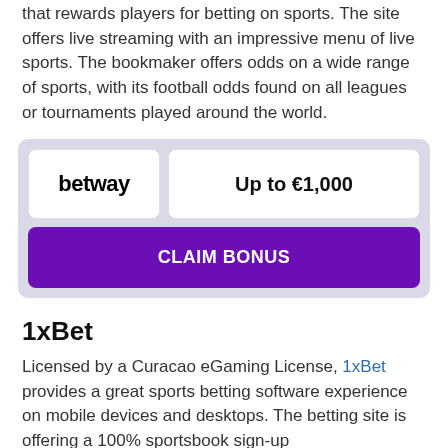that rewards players for betting on sports. The site offers live streaming with an impressive menu of live sports. The bookmaker offers odds on a wide range of sports, with its football odds found on all leagues or tournaments played around the world.
[Figure (infographic): Betway promotional card with logo, 'Up to €1,000' bonus text, and a purple 'CLAIM BONUS' button on a light purple background.]
1xBet
Licensed by a Curacao eGaming License, 1xBet provides a great sports betting software experience on mobile devices and desktops. The betting site is offering a 100% sportsbook sign-up